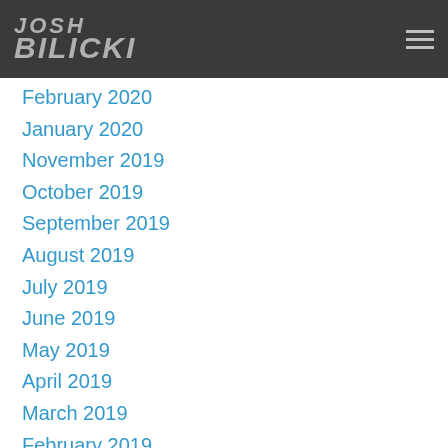Josh Bilicki
February 2020
January 2020
November 2019
October 2019
September 2019
August 2019
July 2019
June 2019
May 2019
April 2019
March 2019
February 2019
November 2018
August 2018
April 2018
February 2018
January 2018 (partial)